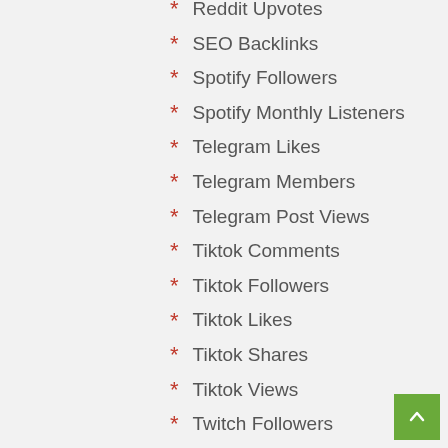Reddit Upvotes
SEO Backlinks
Spotify Followers
Spotify Monthly Listeners
Telegram Likes
Telegram Members
Telegram Post Views
Tiktok Comments
Tiktok Followers
Tiktok Likes
Tiktok Shares
Tiktok Views
Twitch Followers
Twitch Views
Twitter Followers
Twitter Likes
Twitter Retweet
Twitter Video Views
Youtube Comments
Youtube Likes
Youtube Subscribers